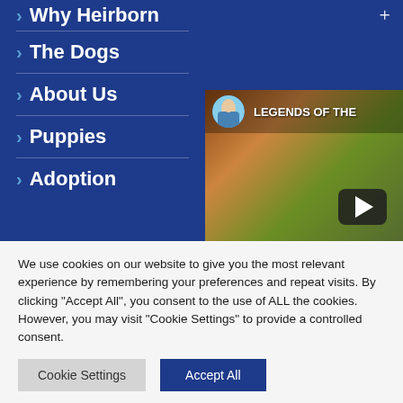> Why Heirborn
> The Dogs
> About Us
> Puppies
> Adoption
[Figure (screenshot): Video thumbnail showing 'LEGENDS OF THE' title with avatar and play button overlay on autumn food background]
We use cookies on our website to give you the most relevant experience by remembering your preferences and repeat visits. By clicking “Accept All”, you consent to the use of ALL the cookies. However, you may visit "Cookie Settings" to provide a controlled consent.
Cookie Settings | Accept All